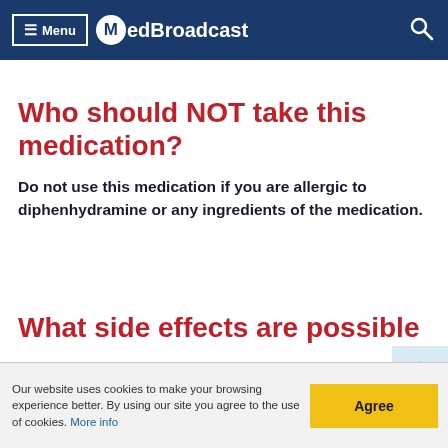Menu MedBroadcast
Who should NOT take this medication?
Do not use this medication if you are allergic to diphenhydramine or any ingredients of the medication.
What side effects are possible
Our website uses cookies to make your browsing experience better. By using our site you agree to the use of cookies. More info